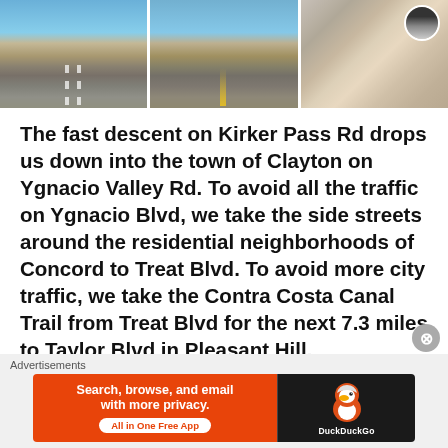[Figure (photo): Three photos side by side: two shots of a road descending through dry golden hills under blue sky, and one selfie of a cyclist in white jersey and helmet.]
The fast descent on Kirker Pass Rd drops us down into the town of Clayton on Ygnacio Valley Rd. To avoid all the traffic on Ygnacio Blvd, we take the side streets around the residential neighborhoods of Concord to Treat Blvd. To avoid more city traffic, we take the Contra Costa Canal Trail from Treat Blvd for the next 7.3 miles to Taylor Blvd in Pleasant Hill.
Advertisements
[Figure (screenshot): DuckDuckGo advertisement banner: orange left side reading 'Search, browse, and email with more privacy. All in One Free App', dark right side with DuckDuckGo duck logo.]